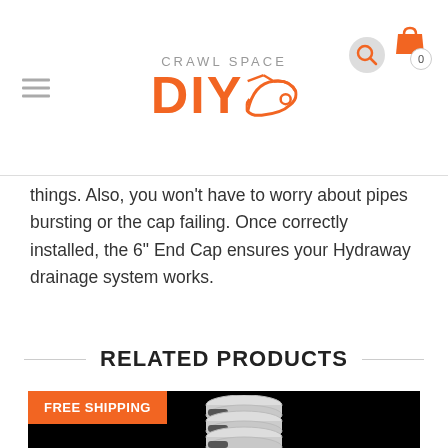CRAWL SPACE DIY
things. Also, you won't have to worry about pipes bursting or the cap failing. Once correctly installed, the 6" End Cap ensures your Hydraway drainage system works.
RELATED PRODUCTS
[Figure (photo): Product image of white drainage pipe fittings/connectors on black background with FREE SHIPPING badge]